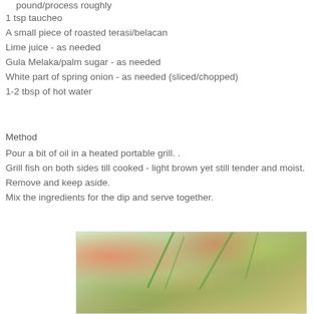pound/process roughly
1 tsp taucheo
A small piece of roasted terasi/belacan
Lime juice - as needed
Gula Melaka/palm sugar - as needed
White part of spring onion - as needed (sliced/chopped)
1-2 tbsp of hot water
Method
Pour a bit of oil in a heated portable grill. .
Grill fish on both sides till cooked - light brown yet still tender and moist.
Remove and keep aside.
Mix the ingredients for the dip and serve together.
[Figure (photo): Grilled fish served on a plate with green spring onions and red chili, close-up food photo]